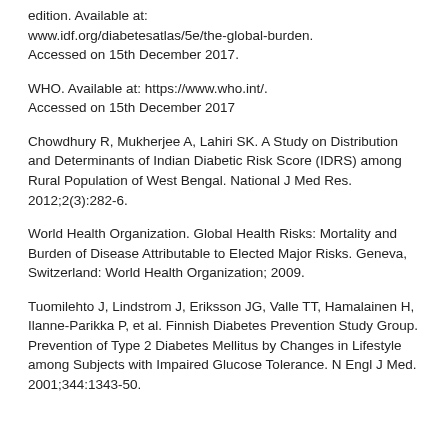edition. Available at: www.idf.org/diabetesatlas/5e/the-global-burden. Accessed on 15th December 2017.
WHO. Available at: https://www.who.int/. Accessed on 15th December 2017
Chowdhury R, Mukherjee A, Lahiri SK. A Study on Distribution and Determinants of Indian Diabetic Risk Score (IDRS) among Rural Population of West Bengal. National J Med Res. 2012;2(3):282-6.
World Health Organization. Global Health Risks: Mortality and Burden of Disease Attributable to Elected Major Risks. Geneva, Switzerland: World Health Organization; 2009.
Tuomilehto J, Lindstrom J, Eriksson JG, Valle TT, Hamalainen H, Ilanne-Parikka P, et al. Finnish Diabetes Prevention Study Group. Prevention of Type 2 Diabetes Mellitus by Changes in Lifestyle among Subjects with Impaired Glucose Tolerance. N Engl J Med. 2001;344:1343-50.